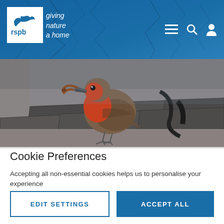rspb - giving nature a home
[Figure (photo): A robin bird holding a worm in its beak, standing on a stone/slate surface outdoors]
Cookie Preferences
Accepting all non-essential cookies helps us to personalise your experience
EDIT SETTINGS
ACCEPT ALL